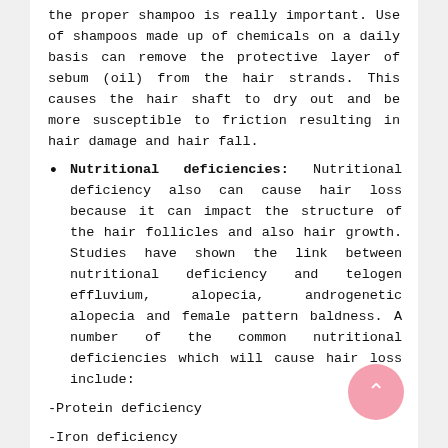the proper shampoo is really important. Use of shampoos made up of chemicals on a daily basis can remove the protective layer of sebum (oil) from the hair strands. This causes the hair shaft to dry out and be more susceptible to friction resulting in hair damage and hair fall.
Nutritional deficiencies: Nutritional deficiency also can cause hair loss because it can impact the structure of the hair follicles and also hair growth. Studies have shown the link between nutritional deficiency and telogen effluvium, alopecia, androgenetic alopecia and female pattern baldness. A number of the common nutritional deficiencies which will cause hair loss include:
-Protein deficiency
-Iron deficiency